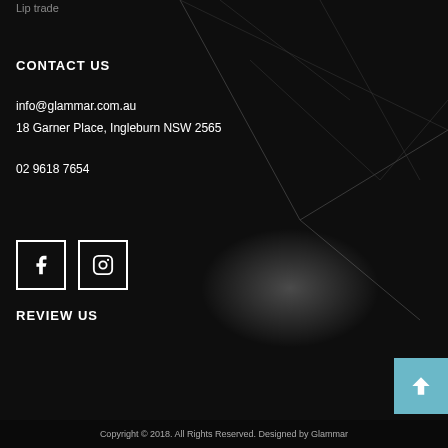Lip trade
CONTACT US
info@glammar.com.au
18 Garner Place, Ingleburn NSW 2565
02 9618 7654
[Figure (illustration): Facebook icon in square border]
[Figure (illustration): Instagram icon in square border]
REVIEW US
[Figure (illustration): Scroll-to-top arrow button in light blue square]
Copyright © 2018. All Rights Reserved. Designed by Glammar